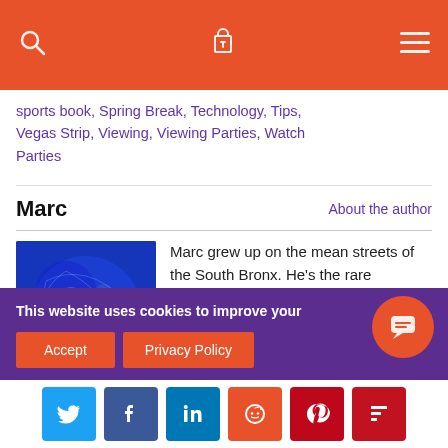Header navigation bar with search, cart, and menu icons
sports book, Spring Break, Technology, Tips, Vegas Strip, Viewing, Viewing Parties, Watch Parties
Marc
About the author
[Figure (photo): Blue abstract author profile photo]
Marc grew up on the mean streets of the South Bronx. He's the rare combination of Yankees and Jets fan which explains his often contrarian point of view. He learned about gambling at a young age working down the street from a bookie who took action on anything from the mainstream sports to the last
This website uses cookies to improve your ce.
Accept   Privacy Policy
[Figure (other): Social sharing buttons: Twitter, Facebook, LinkedIn, Reddit, Pinterest, Flipboard]